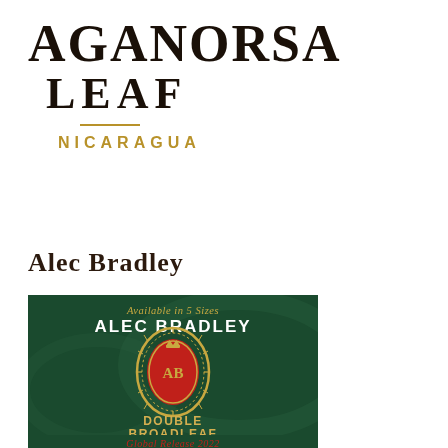[Figure (logo): Aganorsa Leaf Nicaragua logo — bold serif text AGANORSA LEAF with a horizontal rule and NICARAGUA in gold spaced caps]
Alec Bradley
[Figure (photo): Alec Bradley Double Broadleaf Experimental Series cigar box label on dark green background. Text reads: Available in 5 Sizes, ALEC BRADLEY, an ornate gold oval medallion with red center and AB monogram, DOUBLE BROADLEAF, EXPERIMENTAL SERIES, Global Release 2022 in red script.]